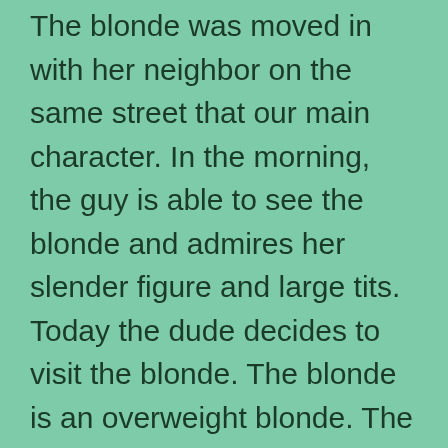The blonde was moved in with her neighbor on the same street that our main character. In the morning, the guy is able to see the blonde and admires her slender figure and large tits. Today the dude decides to visit the blonde. The blonde is an overweight blonde. The blonde is noticed by the dude when the door is opened. Wow. It's attractive. Her top hugging her large Tits, and the man can see her hard nipples. The conversation begins. Now you must select the appropriate dialogue option to begin the conversation. You can enhance the conversation through your charm and charisma. The man enters the room and is